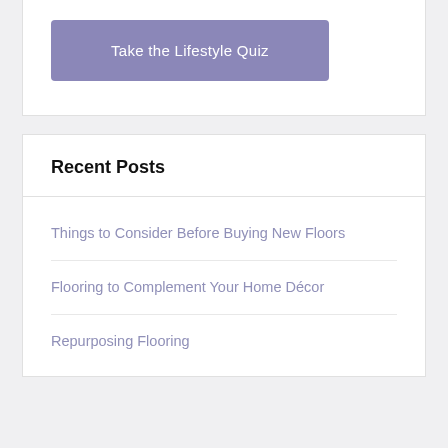[Figure (other): A purple/muted violet button labeled 'Take the Lifestyle Quiz']
Recent Posts
Things to Consider Before Buying New Floors
Flooring to Complement Your Home Décor
Repurposing Flooring